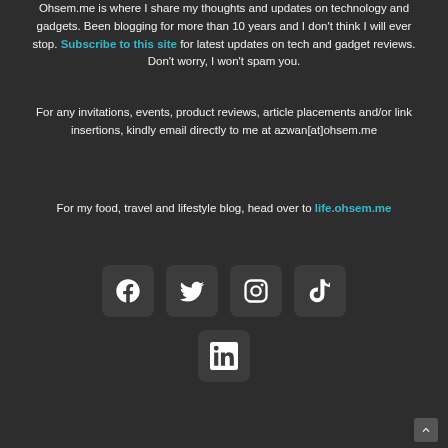Ohsem.me is where I share my thoughts and updates on technology and gadgets. Been blogging for more than 10 years and I don't think I will ever stop. Subscribe to this site for latest updates on tech and gadget reviews. Don't worry, I won't spam you.
For any invitations, events, product reviews, article placements and/or link insertions, kindly email directly to me at azwan[at]ohsem.me
For my food, travel and lifestyle blog, head over to life.ohsem.me
[Figure (infographic): Row of four social media icon buttons: Facebook, Twitter, Instagram, TikTok, and below center a LinkedIn icon button. All icons are white on dark rounded square backgrounds.]